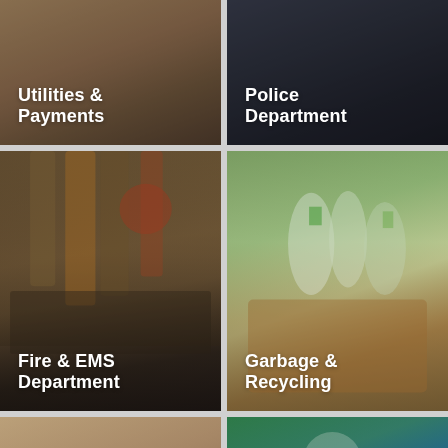[Figure (photo): Utilities & Payments card with photo background of hands/paperwork]
[Figure (photo): Police Department card with dark photo background of police car]
[Figure (photo): Fire & EMS Department card with photo of firefighter gear hanging]
[Figure (photo): Garbage & Recycling card with photo of recycling bottles and bin]
[Figure (photo): Bottom-left card with photo of person writing/tablet]
[Figure (photo): Bottom-right card with photo of child in sports uniform]